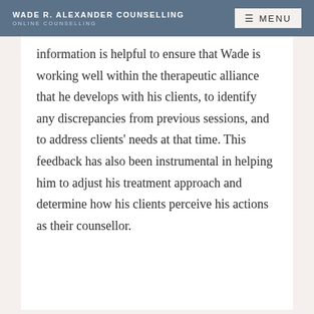WADE R. ALEXANDER COUNSELLING | ONLINE COUNSELLING | MENU
information is helpful to ensure that Wade is working well within the therapeutic alliance that he develops with his clients, to identify any discrepancies from previous sessions, and to address clients' needs at that time. This feedback has also been instrumental in helping him to adjust his treatment approach and determine how his clients perceive his actions as their counsellor.